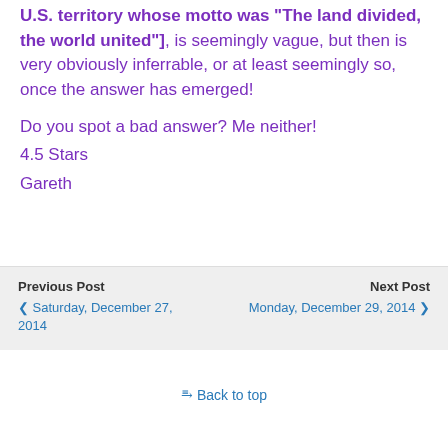U.S. territory whose motto was “The land divided, the world united”], is seemingly vague, but then is very obviously inferrable, or at least seemingly so, once the answer has emerged!
Do you spot a bad answer? Me neither!
4.5 Stars
Gareth
Previous Post
❮ Saturday, December 27, 2014
Next Post
Monday, December 29, 2014 ❯
⭱ Back to top